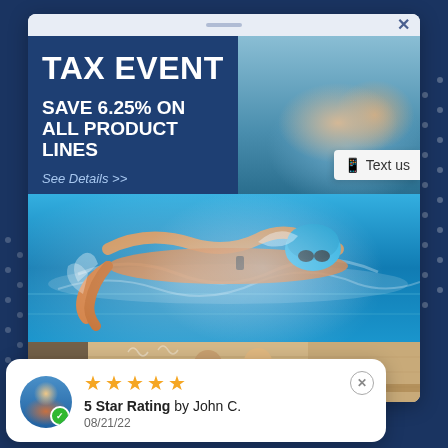[Figure (screenshot): Mobile app/website popup modal showing a Tax Event promotional banner with 'SAVE 6.25% ON ALL PRODUCT LINES', a photo of people in a hot tub, a swimmer in a pool, a sauna scene, a 'Text us' button, and a 5-star review card by John C. dated 08/21/22]
TAX EVENT
SAVE 6.25% ON ALL PRODUCT LINES
See Details >>
Text us
5 Star Rating by John C.
08/21/22